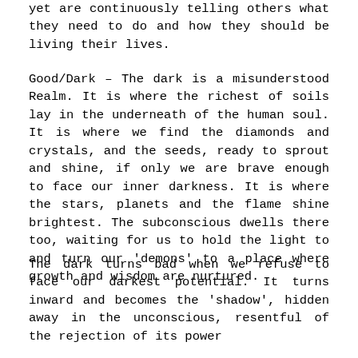yet are continuously telling others what they need to do and how they should be living their lives.
Good/Dark – The dark is a misunderstood Realm. It is where the richest of soils lay in the underneath of the human soul. It is where we find the diamonds and crystals, and the seeds, ready to sprout and shine, if only we are brave enough to face our inner darkness. It is where the stars, planets and the flame shine brightest. The subconscious dwells there too, waiting for us to hold the light to and turn our 'demons' to a place where growth and wisdom are nurtured.
The dark turns bad when we refuse to face our darkest potential. It turns inward and becomes the 'shadow', hidden away in the unconscious, resentful of the rejection of its power